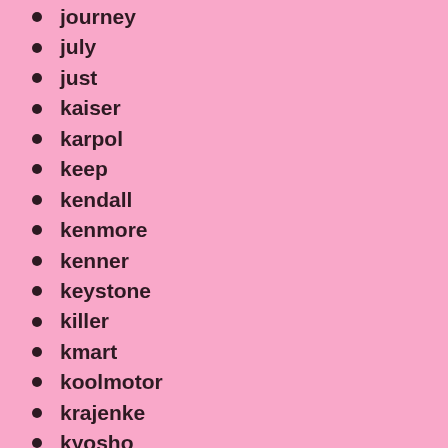journey
july
just
kaiser
karpol
keep
kendall
kenmore
kenner
keystone
killer
kmart
koolmotor
krajenke
kyosho
l1582-
l1627-
l1673-
l2892-